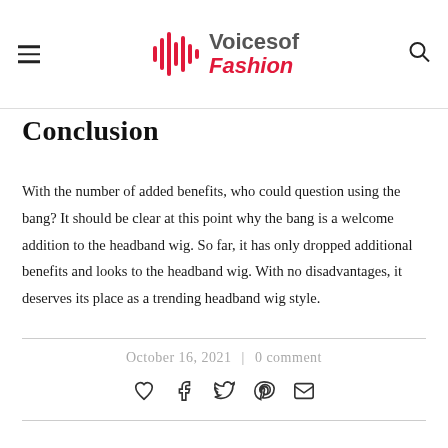Voices of Fashion
Conclusion
With the number of added benefits, who could question using the bang? It should be clear at this point why the bang is a welcome addition to the headband wig. So far, it has only dropped additional benefits and looks to the headband wig. With no disadvantages, it deserves its place as a trending headband wig style.
October 16, 2021 | 0 comment